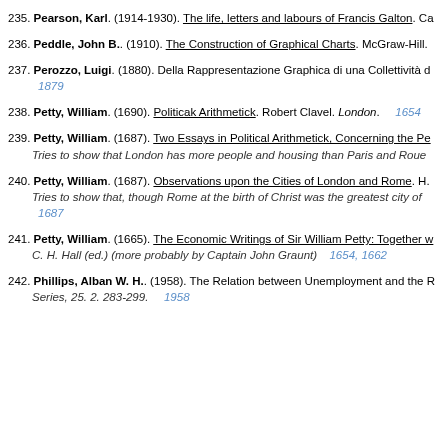235. Pearson, Karl. (1914-1930). The life, letters and labours of Francis Galton. Ca
236. Peddle, John B.. (1910). The Construction of Graphical Charts. McGraw-Hill.
237. Perozzo, Luigi. (1880). Della Rappresentazione Graphica di una Collettività d
1879
238. Petty, William. (1690). Politicak Arithmetick. Robert Clavel. London.   1654
239. Petty, William. (1687). Two Essays in Political Arithmetick, Concerning the Pe
Tries to show that London has more people and housing than Paris and Roue
240. Petty, William. (1687). Observations upon the Cities of London and Rome. H.
Tries to show that, though Rome at the birth of Christ was the greatest city of
1687
241. Petty, William. (1665). The Economic Writings of Sir William Petty: Together w
C. H. Hall (ed.) (more probably by Captain John Graunt)  1654, 1662
242. Phillips, Alban W. H.. (1958). The Relation between Unemployment and the R
Series, 25. 2. 283-299.   1958